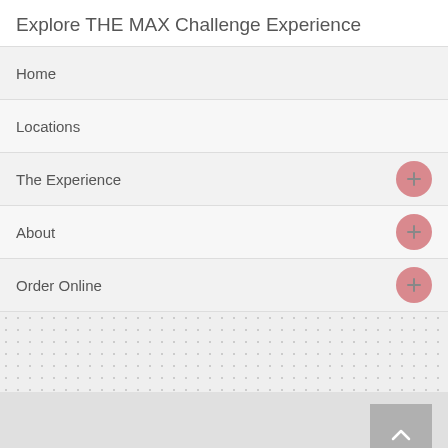Explore THE MAX Challenge Experience
Home
Locations
The Experience
About
Order Online
[Figure (screenshot): Gray back-to-top button with upward chevron arrow]
What Is THE MAX Challenge?
Becoming a Managing Partner  ‹ ›  Which Path to Follow: Franchise ...